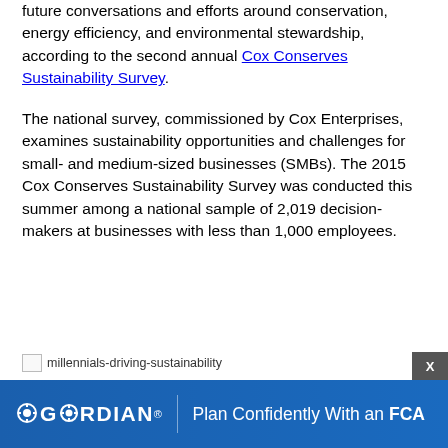future conversations and efforts around conservation, energy efficiency, and environmental stewardship, according to the second annual Cox Conserves Sustainability Survey.
The national survey, commissioned by Cox Enterprises, examines sustainability opportunities and challenges for small- and medium-sized businesses (SMBs). The 2015 Cox Conserves Sustainability Survey was conducted this summer among a national sample of 2,019 decision-makers at businesses with less than 1,000 employees.
[Figure (photo): Broken image placeholder labeled 'millennials-driving-sustainability']
[Figure (other): Advertisement banner for Gordian: 'Plan Confidently With an FCA']